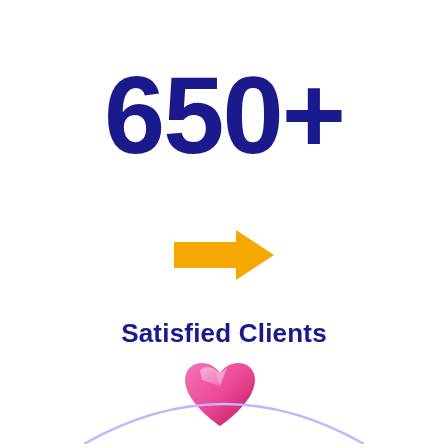650+
[Figure (illustration): Golden/yellow right-pointing arrow icon]
Satisfied Clients
[Figure (illustration): Pink 3D crystal heart icon, partially visible at bottom]
[Figure (illustration): Light purple arc/circle shape at very bottom of page, partially visible]